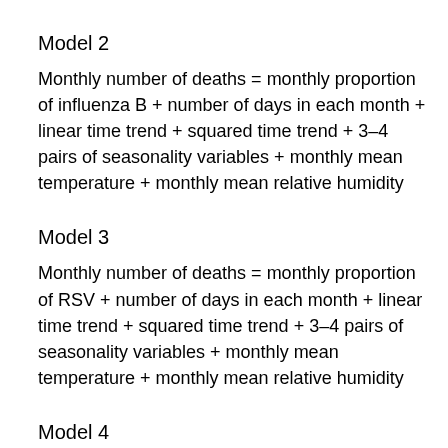Model 2
Monthly number of deaths = monthly proportion of influenza B + number of days in each month + linear time trend + squared time trend + 3–4 pairs of seasonality variables + monthly mean temperature + monthly mean relative humidity
Model 3
Monthly number of deaths = monthly proportion of RSV + number of days in each month + linear time trend + squared time trend + 3–4 pairs of seasonality variables + monthly mean temperature + monthly mean relative humidity
Model 4